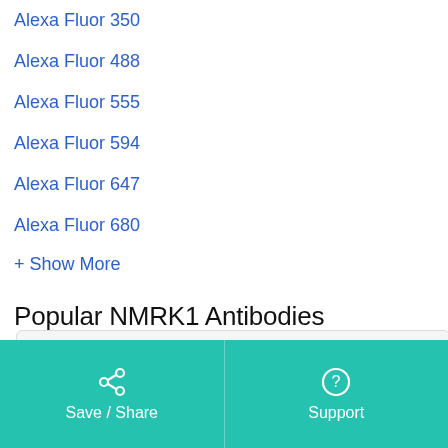Alexa Fluor 350
Alexa Fluor 488
Alexa Fluor 555
Alexa Fluor 594
Alexa Fluor 647
Alexa Fluor 680
+ Show More
Popular NMRK1 Antibodies
anti-NMRK1 antibody (Nicotinamide Riboside Kinase 1)
Save / Share   Support